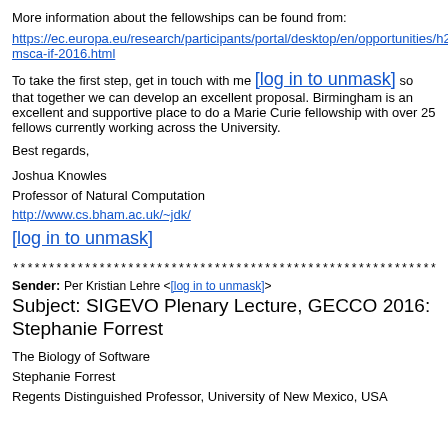More information about the fellowships can be found from:
https://ec.europa.eu/research/participants/portal/desktop/en/opportunities/h2020/topics/msca-if-2016.html
To take the first step, get in touch with me [log in to unmask] so that together we can develop an excellent proposal. Birmingham is an excellent and supportive place to do a Marie Curie fellowship with over 25 fellows currently working across the University.
Best regards,
Joshua Knowles
Professor of Natural Computation
http://www.cs.bham.ac.uk/~jdk/
[log in to unmask]
************************************************************
Sender: Per Kristian Lehre <[log in to unmask]>
Subject: SIGEVO Plenary Lecture, GECCO 2016: Stephanie Forrest
The Biology of Software
Stephanie Forrest
Regents Distinguished Professor, University of New Mexico, USA